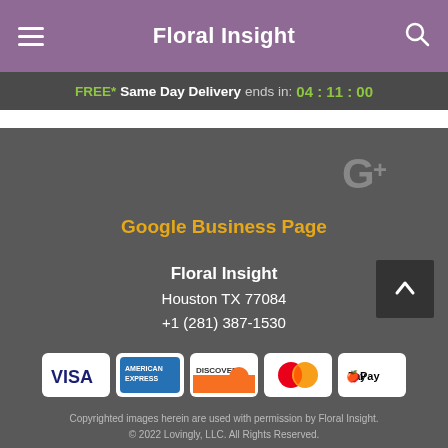Floral Insight
FREE* Same Day Delivery ends in: 04:11:00
[Figure (logo): Google+ icon (G+) in gray]
Google Business Page
Floral Insight
Houston TX 77084
+1 (281) 387-1530
[Figure (other): Payment method icons: Visa, American Express, Discover, Mastercard, Apple Pay]
Copyrighted images herein are used with permission by Floral Insight. © 2022 Lovingly, LLC. All Rights Reserved.